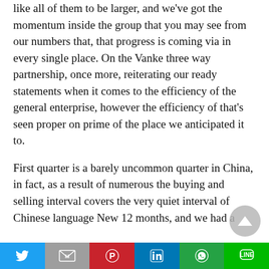like all of them to be larger, and we've got the momentum inside the group that you may see from our numbers that, that progress is coming via in every single place. On the Vanke three way partnership, once more, reiterating our ready statements when it comes to the efficiency of the general enterprise, however the efficiency of that's seen proper on prime of the place we anticipated it to.
First quarter is a barely uncommon quarter in China, in fact, as a result of numerous the buying and selling interval covers the very quiet interval of Chinese language New 12 months, and we had a